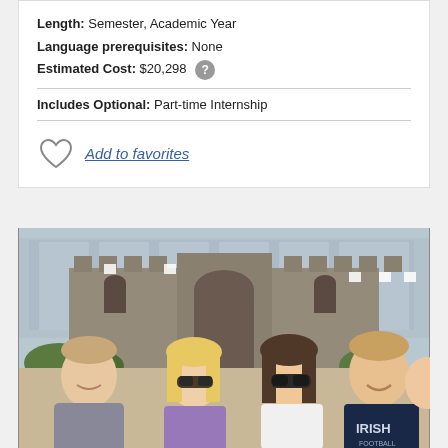Length: Semester, Academic Year
Language prerequisites: None
Estimated Cost: $20,298
Includes Optional: Part-time Internship
Add to favorites
[Figure (photo): Group of four smiling college students posing in front of a historic stone castle building. The students include two males and two females. One male on the right wears a navy blue hoodie that reads 'IRISH FOOTBALL'. The castle has stone turrets and an arched entrance in the background.]